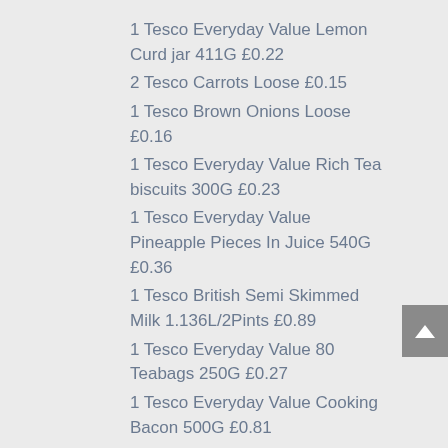1 Tesco Everyday Value Lemon Curd jar 411G £0.22
2 Tesco Carrots Loose £0.15
1 Tesco Brown Onions Loose £0.16
1 Tesco Everyday Value Rich Tea biscuits 300G £0.23
1 Tesco Everyday Value Pineapple Pieces In Juice 540G £0.36
1 Tesco British Semi Skimmed Milk 1.136L/2Pints £0.89
1 Tesco Everyday Value 80 Teabags 250G £0.27
1 Tesco Everyday Value Cooking Bacon 500G £0.81